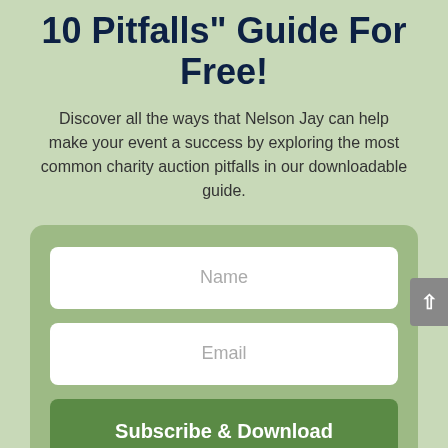10 Pitfalls" Guide For Free!
Discover all the ways that Nelson Jay can help make your event a success by exploring the most common charity auction pitfalls in our downloadable guide.
[Figure (other): A web form with Name field, Email field, and Subscribe & Download button on a green rounded rectangle background. A grey scroll-to-top button is visible on the right edge.]